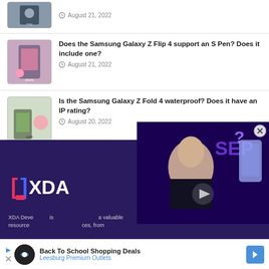August 21, 2022
Does the Samsung Galaxy Z Flip 4 support an S Pen? Does it include one? August 21, 2022
Is the Samsung Galaxy Z Fold 4 waterproof? Does it have an IP rating? August 20, 2022
Lenovo IdeaPad Duet 3 Chromebook review: A sequel with much more to offer August 20, 2022
[Figure (screenshot): XDA Daily video thumbnail with man and purple phone, SEP DAILY text overlay]
[Figure (logo): XDA logo in dark purple footer area]
XDA Developers is a valuable resource ... ces, from
[Figure (infographic): Back To School Shopping Deals - Leesburg Premium Outlets advertisement banner]